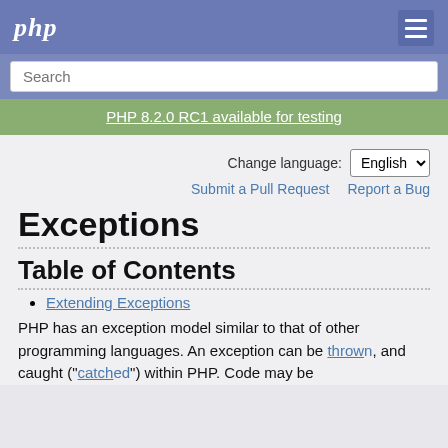php
Search
PHP 8.2.0 RC1 available for testing
Change language: English
Submit a Pull Request   Report a Bug
Exceptions
Table of Contents
Extending Exceptions
PHP has an exception model similar to that of other programming languages. An exception can be thrown, and caught ("catch"ed) within PHP. Code may be